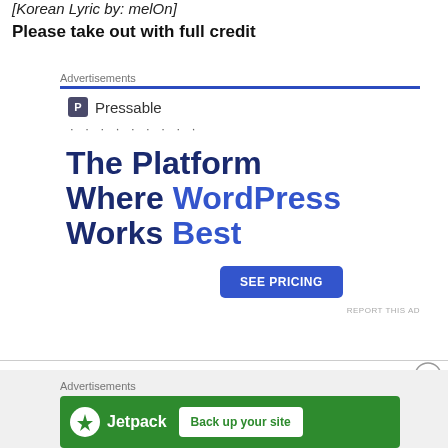[Korean Lyric by: melOn]
Please take out with full credit
[Figure (screenshot): Pressable advertisement banner: 'The Platform Where WordPress Works Best' with SEE PRICING button]
[Figure (screenshot): Jetpack advertisement banner: 'Back up your site' with green background]